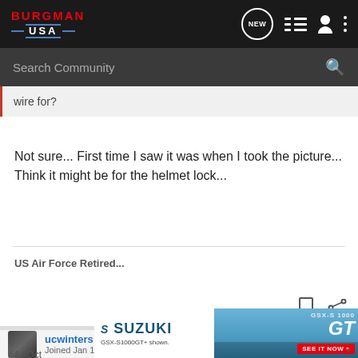BURGMAN USA
Search Community
wire for?
Not sure... First time I saw it was when I took the picture... Think it might be for the helmet lock...
US Air Force Retired...
ucwinters · Registered
Joined Jan 18, 2008 · 182 Posts
#4 · Oct
[Figure (screenshot): Suzuki GSX-S1000GT advertisement banner showing motorcycle and GSX-S 1000 GT branding with SEE IT NOW button]